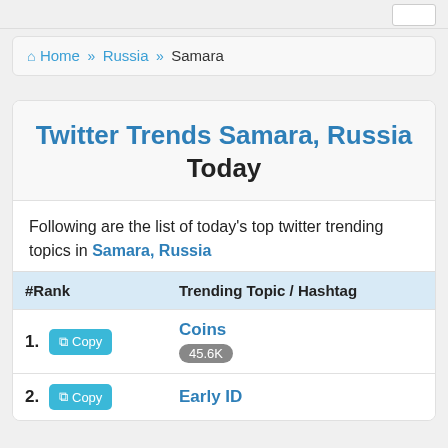Home » Russia » Samara
Twitter Trends Samara, Russia Today
Following are the list of today's top twitter trending topics in Samara, Russia
| #Rank | Trending Topic / Hashtag |
| --- | --- |
| 1. Copy | Coins
45.6K |
| 2. Copy | Early ID |